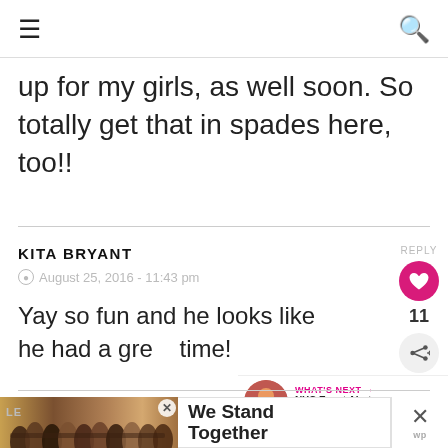≡ [hamburger menu] | [search icon]
up for my girls, as well soon. So totally get that in spades here, too!!
KITA BRYANT
August 25, 2016 - 11:43 pm
Yay so fun and he looks like he had a great time!
[Figure (screenshot): WHAT'S NEXT arrow panel with circular photo thumbnail and text 'NYC Event Alert SeriousFunMess']
[Figure (photo): Ad banner: group of people with arms around each other, text 'We Stand Together']